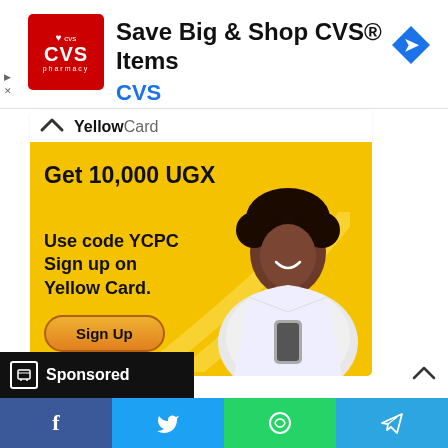[Figure (screenshot): CVS Pharmacy advertisement banner: red CVS pharmacy logo on left, text 'Save Big & Shop CVS® Items' in bold black, 'CVS' in blue below, blue navigation icon on right]
[Figure (screenshot): Yellow Card promotional banner ad with yellow background: 'YellowCard' header with chevron, 'Get 10,000 UGX' headline, 'Use code YCPC Sign up on Yellow Card.' body text, orange Sign Up button, smiling woman holding phone on right side]
Sponsored
[Figure (infographic): Bottom social share bar with Facebook (blue), Twitter (light blue), WhatsApp (green), and Telegram (blue) icons]